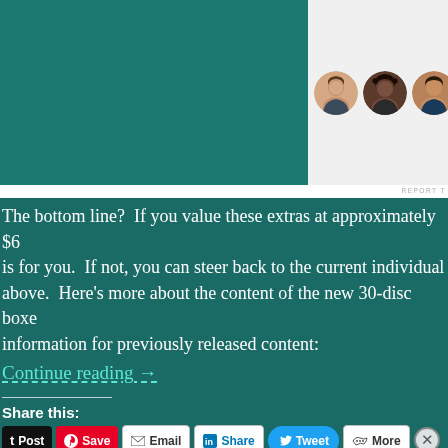[Figure (photo): Three circular avatar photos of people (woman, Black woman, man) and a blue plus button, shown on a light gray background in the upper right of the page.]
The bottom line?  If you value these extras at approximately $6 is for you.  If not, you can steer back to the current individual above.  Here's more about the content of the new 30-disc boxe information for previously released content:
Continue reading →
Share this:
Post  Save  Email  Share  Tweet  More
[Figure (screenshot): WooCommerce advertisement banner: 'How to start selling subscriptions online' with WooCommerce logo and colorful accent shapes.]